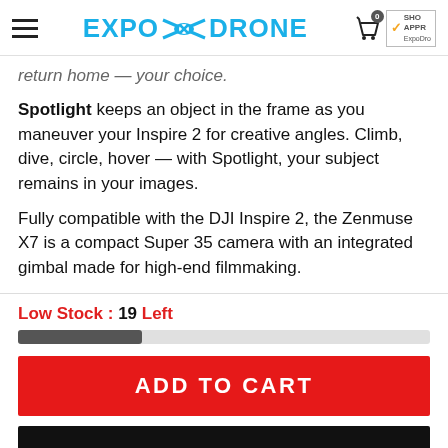EXPO DRONE
return home — your choice.
Spotlight keeps an object in the frame as you maneuver your Inspire 2 for creative angles. Climb, dive, circle, hover — with Spotlight, your subject remains in your images.
Fully compatible with the DJI Inspire 2, the Zenmuse X7 is a compact Super 35 camera with an integrated gimbal made for high-end filmmaking.
Low Stock : 19 Left
ADD TO CART
BUY IT NOW